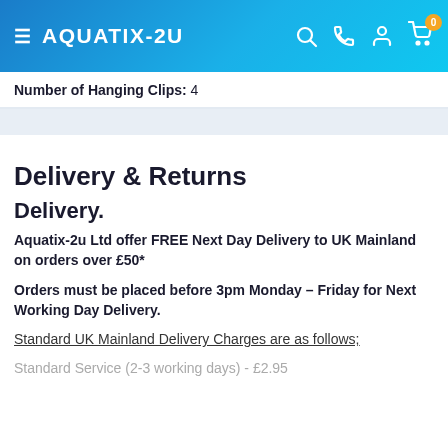AQUATIX-2U
Number of Hanging Clips: 4
Delivery & Returns
Delivery.
Aquatix-2u Ltd offer FREE Next Day Delivery to UK Mainland on orders over £50*
Orders must be placed before 3pm Monday – Friday for Next Working Day Delivery.
Standard UK Mainland Delivery Charges are as follows;
Standard Service (2-3 working days) - £2.95